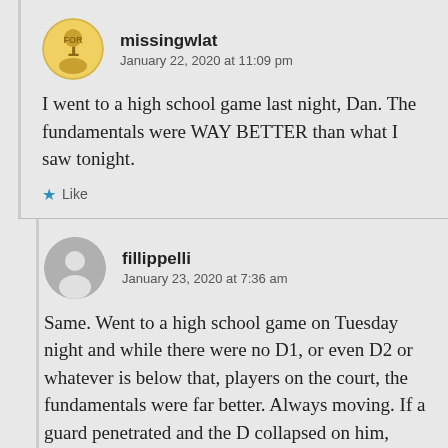missingwlat
January 22, 2020 at 11:09 pm
I went to a high school game last night, Dan. The fundamentals were WAY BETTER than what I saw tonight.
Like
fillippelli
January 23, 2020 at 7:36 am
Same. Went to a high school game on Tuesday night and while there were no D1, or even D2 or whatever is below that, players on the court, the fundamentals were far better. Always moving. If a guard penetrated and the D collapsed on him,